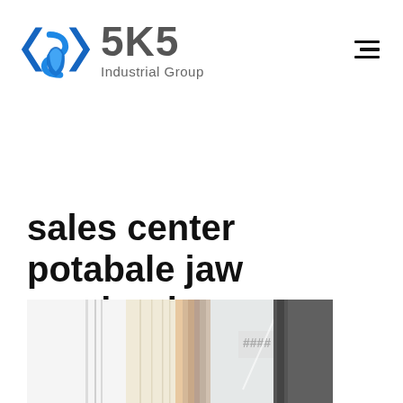[Figure (logo): SKS Industrial Group logo with blue diamond/chevron icon and grey bold SKS text with 'Industrial Group' subtitle]
sales center potabale jaw crashar in Indonesia
[Figure (photo): Partial view of industrial or commercial building interior/exterior, cropped at bottom of page]